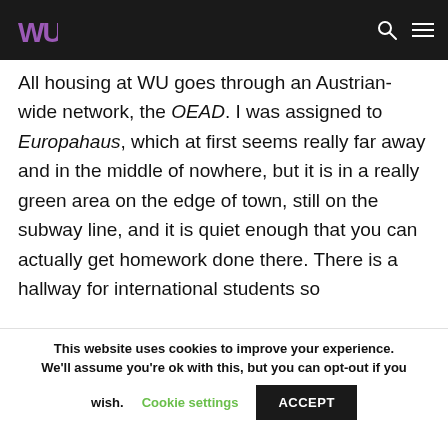Housing — WU (Vienna University of Economics and Business)
All housing at WU goes through an Austrian-wide network, the OEAD. I was assigned to Europahaus, which at first seems really far away and in the middle of nowhere, but it is in a really green area on the edge of town, still on the subway line, and it is quiet enough that you can actually get homework done there. There is a hallway for international students so
This website uses cookies to improve your experience. We'll assume you're ok with this, but you can opt-out if you wish.
Cookie settings
ACCEPT